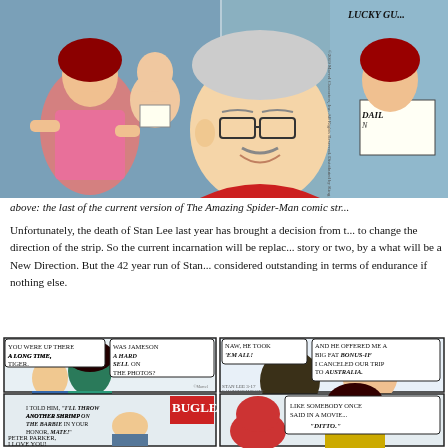[Figure (illustration): Comic strip panels from The Amazing Spider-Man showing characters in conversation, including Stan Lee cameo. Partially cropped at top.]
above: the last of the current version of The Amazing Spider-Man comic str...
Unfortunately, the death of Stan Lee last year has brought a decision from the publisher to change the direction of the strip. So the current incarnation will be replaced, after a story or two, by a what will be a New Direction. But the 42 year run of Stan... considered outstanding in terms of endurance if nothing else.
[Figure (illustration): Four comic strip panels from The Amazing Spider-Man. Top-left: characters talking, speech bubbles 'YOU WERE UP THERE A LONG TIME, TIGER.' 'WAS JAMESON A HARD SELL ON THE PHOTOS?' Top-right: 'NAW, HE TOOK 'EM ALL!' 'AND HE OFFERED ME A BIG FAT BONUS-IF I CANCELED OUR TRIP TO AUSTRALIA.' Bottom-left: 'I TOLD HIM, I'LL THROW ANOTHER SHRIMP ON THE BARBIE IN YOUR HONOR, MATE!' 'PETER PARKER, I LOVE YOU!' BUGLE sign visible. Bottom-right: 'LIKE SOMEBODY ONCE SAID IN A MOVIE... DITTO.']